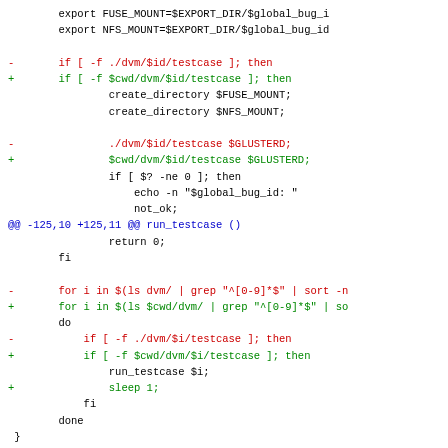[Figure (other): Git diff code snippet showing shell script changes with red (removed) and green (added) lines, blue hunk headers, and black context lines]